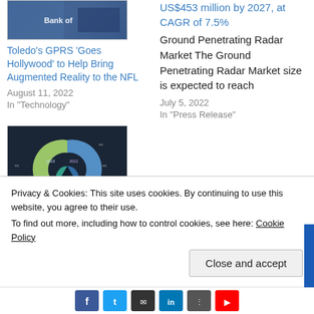[Figure (photo): Building exterior with 'Bank of' text visible, blue tones]
Toledo's GPRS 'Goes Hollywood' to Help Bring Augmented Reality to the NFL
August 11, 2022
In "Technology"
US$453 million by 2027, at CAGR of 7.5%
Ground Penetrating Radar Market The Ground Penetrating Radar Market size is expected to reach
July 5, 2022
In "Press Release"
[Figure (donut-chart): Dark background donut chart with multiple colored segments (blue, purple, green, teal) with labels]
3D Laser Scanning Services Market
Privacy & Cookies: This site uses cookies. By continuing to use this website, you agree to their use.
To find out more, including how to control cookies, see here: Cookie Policy
Close and accept